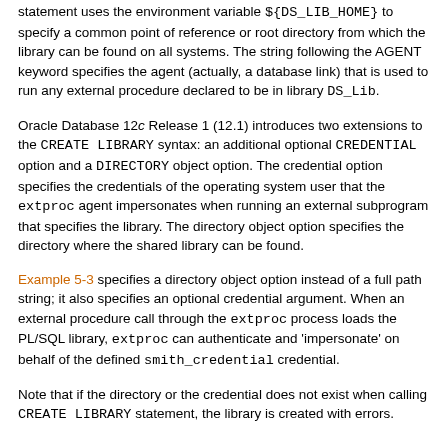statement uses the environment variable ${DS_LIB_HOME} to specify a common point of reference or root directory from which the library can be found on all systems. The string following the AGENT keyword specifies the agent (actually, a database link) that is used to run any external procedure declared to be in library DS_Lib.
Oracle Database 12c Release 1 (12.1) introduces two extensions to the CREATE LIBRARY syntax: an additional optional CREDENTIAL option and a DIRECTORY object option. The credential option specifies the credentials of the operating system user that the extproc agent impersonates when running an external subprogram that specifies the library. The directory object option specifies the directory where the shared library can be found.
Example 5-3 specifies a directory object option instead of a full path string; it also specifies an optional credential argument. When an external procedure call through the extproc process loads the PL/SQL library, extproc can authenticate and 'impersonate' on behalf of the defined smith_credential credential.
Note that if the directory or the credential does not exist when calling CREATE LIBRARY statement, the library is created with errors.